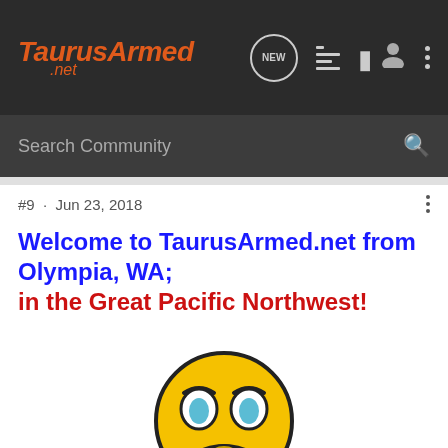TaurusArmed .net
Search Community
#9 · Jun 23, 2018
Welcome to TaurusArmed.net from Olympia, WA; in the Great Pacific Northwest!
[Figure (illustration): Worried/sad yellow emoji cartoon character with orange hands on cheeks and blue tears, crouching with light blue knees visible]
[Figure (infographic): Cabela's advertisement banner: HIGHEST-RATED GEAR, rating 4.9 stars, with a product image and play button]